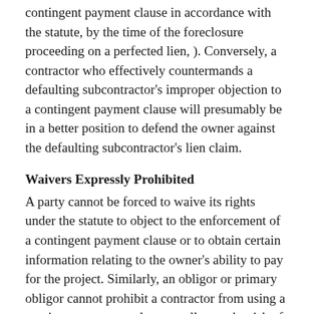contingent payment clause in accordance with the statute, by the time of the foreclosure proceeding on a perfected lien, ). Conversely, a contractor who effectively countermands a defaulting subcontractor's improper objection to a contingent payment clause will presumably be in a better position to defend the owner against the defaulting subcontractor's lien claim.
Waivers Expressly Prohibited
A party cannot be forced to waive its rights under the statute to object to the enforcement of a contingent payment clause or to obtain certain information relating to the owner's ability to pay for the project. Similarly, an obligor or primary obligor cannot prohibit a contractor from using a contingent payment clause to allocate the risk of owner non-payment in a construction contract.